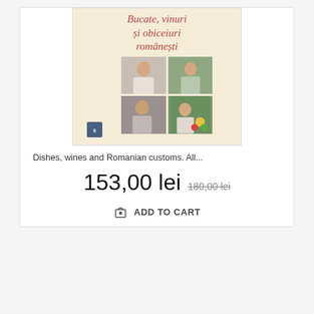[Figure (photo): Book cover for 'Bucate, vinuri și obiceiuri românești' — cream background with cursive red title text and four photos of people, including chefs and a market scene. Publisher logo in bottom left.]
Dishes, wines and Romanian customs. All...
153,00 lei  180,00 lei
ADD TO CART